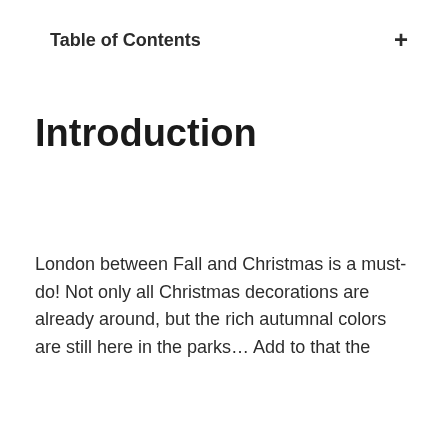Table of Contents
Introduction
London between Fall and Christmas is a must-do! Not only all Christmas decorations are already around, but the rich autumnal colors are still here in the parks… Add to that the